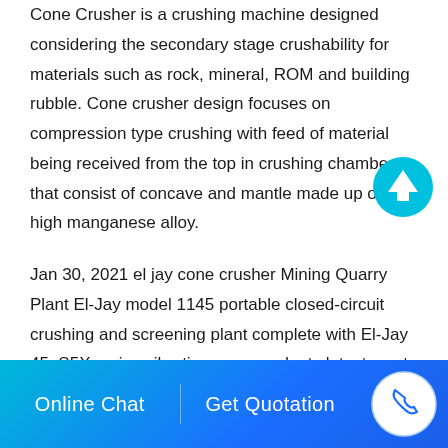Cone Crusher is a crushing machine designed considering the secondary stage crushability for materials such as rock, mineral, ROM and building rubble. Cone crusher design focuses on compression type crushing with feed of material being received from the top in crushing chamber that consist of concave and mantle made up of high manganese alloy.
Jan 30, 2021 el jay cone crusher Mining Quarry Plant El-Jay model 1145 portable closed-circuit crushing and screening plant complete with El-Jay 45. S5X series vibrating screen adopts latest most advanced design concept, applies for heavy, middle-hea. YKN Series Vibrating Screen.
Dec 13, 2015 IFC's work with the off-grid lighting industry
Online Chat   Get Quotation